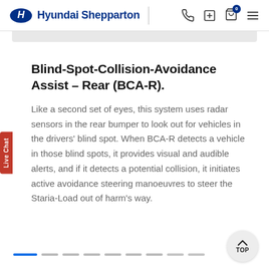Hyundai Shepparton
Blind-Spot-Collision-Avoidance Assist – Rear (BCA-R).
Like a second set of eyes, this system uses radar sensors in the rear bumper to look out for vehicles in the drivers' blind spot. When BCA-R detects a vehicle in those blind spots, it provides visual and audible alerts, and if it detects a potential collision, it initiates active avoidance steering manoeuvres to steer the Staria-Load out of harm's way.